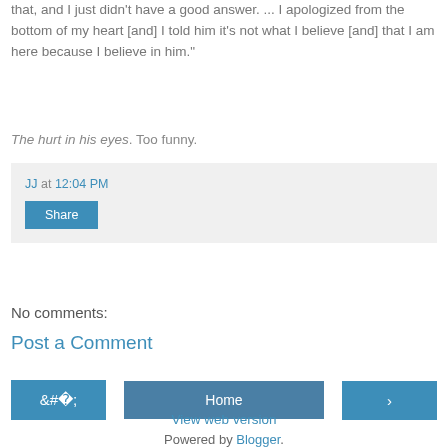that, and I just didn't have a good answer. ... I apologized from the bottom of my heart [and] I told him it's not what I believe [and] that I am here because I believe in him."
The hurt in his eyes. Too funny.
JJ at 12:04 PM
Share
No comments:
Post a Comment
‹ Home ›
View web version
Powered by Blogger.